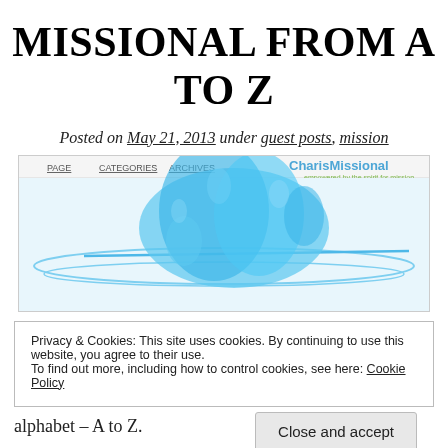MISSIONAL FROM A TO Z
Posted on May 21, 2013 under guest posts, mission
[Figure (screenshot): Screenshot of CharisMissional website with navigation links (PAGE, CATEGORIES, ARCHIVES) and header image showing water splash with text 'CharisMissional – empowered by the spirit for mission']
Privacy & Cookies: This site uses cookies. By continuing to use this website, you agree to their use.
To find out more, including how to control cookies, see here: Cookie Policy
Close and accept
alphabet – A to Z.